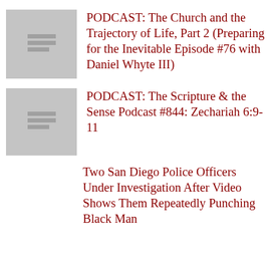[Figure (illustration): Gray thumbnail placeholder with horizontal lines icon]
PODCAST: The Church and the Trajectory of Life, Part 2 (Preparing for the Inevitable Episode #76 with Daniel Whyte III)
[Figure (illustration): Gray thumbnail placeholder with horizontal lines icon]
PODCAST: The Scripture & the Sense Podcast #844: Zechariah 6:9-11
Two San Diego Police Officers Under Investigation After Video Shows Them Repeatedly Punching Black Man